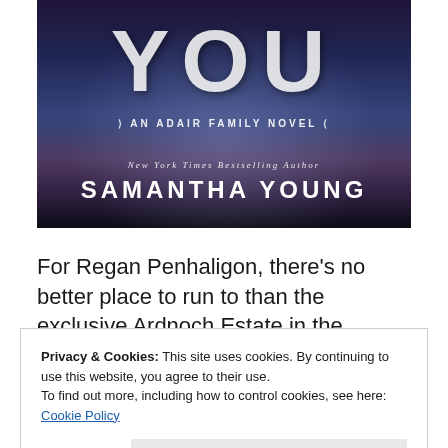[Figure (illustration): Book cover for 'YOU' - An Adair Family Novel by Samantha Young (New York Times Bestselling Author). Dark blue/purple tones with waterfall background. Large 'YOU' text at top, series name in middle, author name at bottom.]
For Regan Penhaligon, there's no better place to run to than the exclusive Ardnoch Estate in the
Privacy & Cookies: This site uses cookies. By continuing to use this website, you agree to their use.
To find out more, including how to control cookies, see here: Cookie Policy
Close and accept